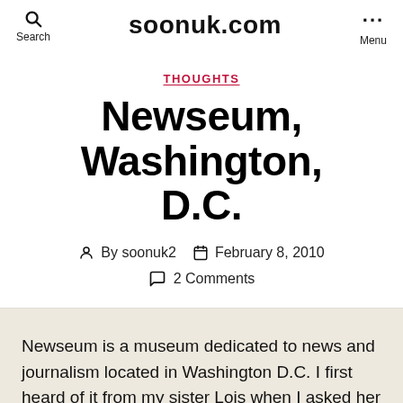soonuk.com
THOUGHTS
Newseum, Washington, D.C.
By soonuk2  February 8, 2010
2 Comments
Newseum is a museum dedicated to news and journalism located in Washington D.C. I first heard of it from my sister Lois when I asked her for ideas on what to do in